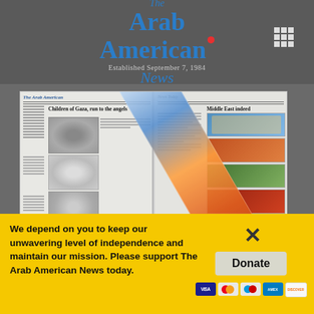The Arab American News — Established September 7, 1984
[Figure (photo): Newspaper pages fanned open showing headlines 'Children of Gaza, run to the angels' and 'Middle East indeed', with a diagonal colorful photo strip across the pages, and 'Flip Through Latest Issue' text below]
We depend on you to keep our unwavering level of independence and maintain our mission. Please support The Arab American News today.
Donate